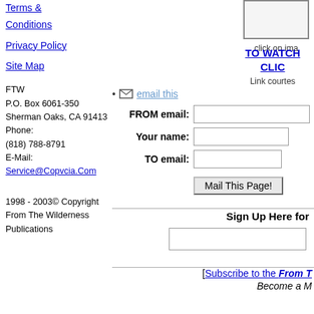Terms & Conditions
Privacy Policy
Site Map
FTW
P.O. Box 6061-350
Sherman Oaks, CA 91413
Phone:
(818) 788-8791
E-Mail:
Service@Copvcia.Com
[Figure (other): Partial image box with border, cut off on right]
click on ima
TO WATCH
CLIC
Link courtes
email this
FROM email:
Your name:
TO email:
Mail This Page!
1998 - 2003© Copyright
From The Wilderness
Publications
Sign Up Here for
[Subscribe to the From T
Become a M